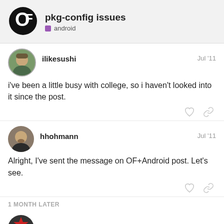pkg-config issues — android
ilikesushi — Jul '11
i've been a little busy with college, so i haven't looked into it since the post.
hhohmann — Jul '11
Alright, I've sent the message on OF+Android post. Let's see.
1 MONTH LATER
rezponze — 1 / 5